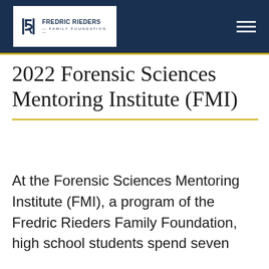FREDRIC RIEDERS FAMILY FOUNDATION
2022 Forensic Sciences Mentoring Institute (FMI)
At the Forensic Sciences Mentoring Institute (FMI), a program of the Fredric Rieders Family Foundation, high school students spend seven weeks investigating the most challenging